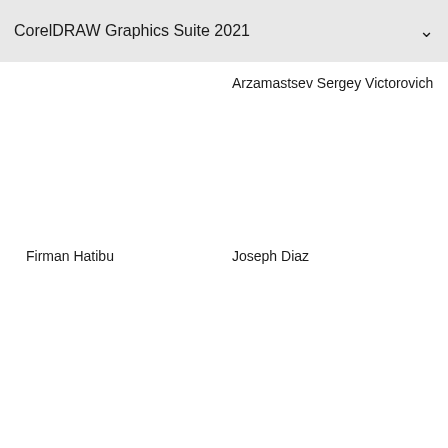CorelDRAW Graphics Suite 2021
Arzamastsev Sergey Victorovich
Firman Hatibu
Joseph Diaz